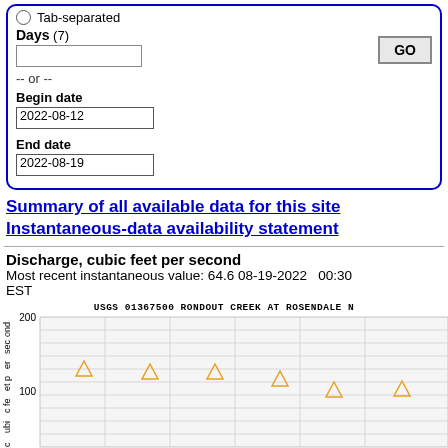Tab-separated
Days (7)
-- or --
Begin date
2022-08-12
End date
2022-08-19
Summary of all available data for this site
Instantaneous-data availability statement
Discharge, cubic feet per second
Most recent instantaneous value: 64.6 08-19-2022   00:30 EST
[Figure (continuous-plot): Line/scatter chart from USGS 01367500 RONDOUT CREEK AT ROSENDALE showing discharge in cubic feet per second over time. Y-axis labeled 'cubic feet per second', shows 200 at top and 100 marked. Orange triangle markers plotted at approximately 120, 115, 115, 105, 88, 90 cfs across the date range.]